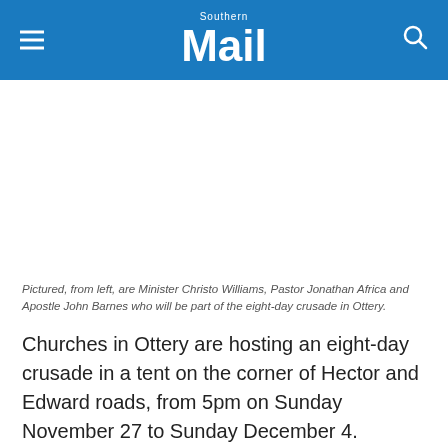Southern Mail
[Figure (photo): White empty space where a photo would appear showing Minister Christo Williams, Pastor Jonathan Africa and Apostle John Barnes]
Pictured, from left, are Minister Christo Williams, Pastor Jonathan Africa and Apostle John Barnes who will be part of the eight-day crusade in Ottery.
Churches in Ottery are hosting an eight-day crusade in a tent on the corner of Hector and Edward roads, from 5pm on Sunday November 27 to Sunday December 4.